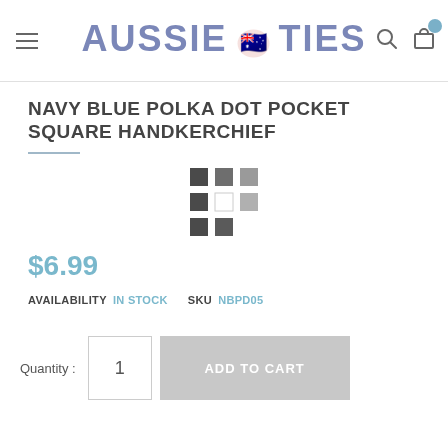AUSSIE TIES
NAVY BLUE POLKA DOT POCKET SQUARE HANDKERCHIEF
[Figure (illustration): Color swatch grid showing 7 small colored squares in dark grey, medium grey, light grey arrangement]
$6.99
AVAILABILITY  IN STOCK  SKU  NBPD05
Quantity : 1  ADD TO CART